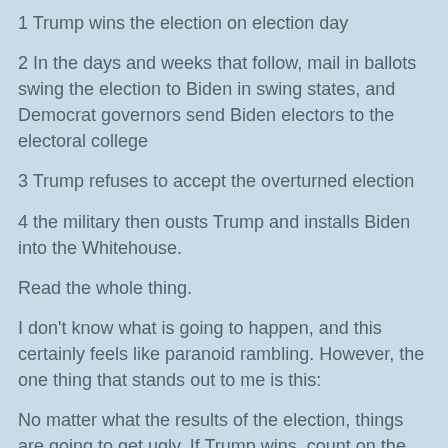1 Trump wins the election on election day
2 In the days and weeks that follow, mail in ballots swing the election to Biden in swing states, and Democrat governors send Biden electors to the electoral college
3 Trump refuses to accept the overturned election
4 the military then ousts Trump and installs Biden into the Whitehouse.
Read the whole thing.
I don't know what is going to happen, and this certainly feels like paranoid rambling. However, the one thing that stands out to me is this:
No matter what the results of the election, things are going to get ugly. If Trump wins, count on the Democrats losing their collective minds.
If Biden wins, the Socialists and Communists will still not be happy. Note that the Democrats who have been appeasing them have not been given any quarter.